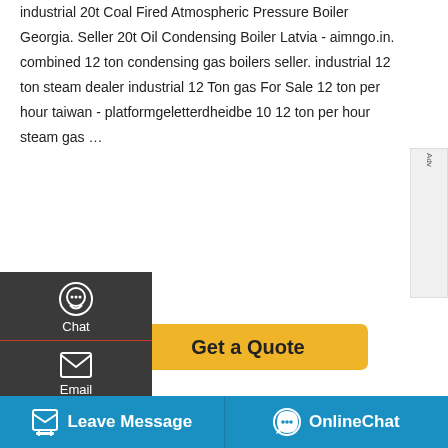industrial 20t Coal Fired Atmospheric Pressure Boiler Georgia. Seller 20t Oil Condensing Boiler Latvia - aimngo.in. combined 12 ton condensing gas boilers seller. industrial 12 ton steam dealer industrial 12 Ton gas For Sale 12 ton per hour taiwan - platformgeletterdheidbe 10 12 ton per hour steam gas …
[Figure (screenshot): Left sidebar with dark background showing Chat, Email, and Contact icons with labels, plus a yellow Get a Quote button]
Related Information
r Kazakhstan
[Figure (screenshot): Save Stickers on WhatsApp overlay banner with purple-pink-orange gradient, showing phone and emoji icons]
[Figure (screenshot): Bottom blue bar with Leave Message and OnlineChat buttons]